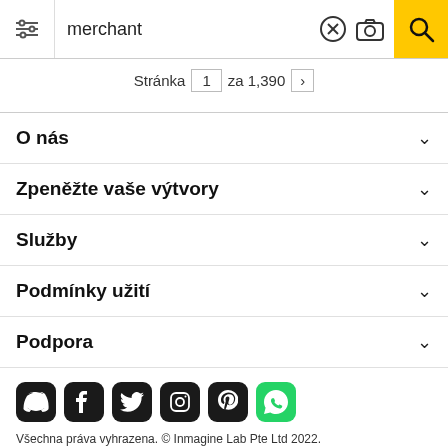[Figure (screenshot): Search bar with filter icon, text input showing 'merchant', clear/camera icons, and yellow search button]
Stránka 1 za 1,390 >
O nás
Zpeněžte vaše výtvory
Služby
Podmínky užití
Podpora
[Figure (infographic): Row of social media icons: Discord, Facebook, Twitter, Instagram, Pinterest, WhatsApp]
Všechna práva vyhrazena. © Inmagine Lab Pte Ltd 2022.